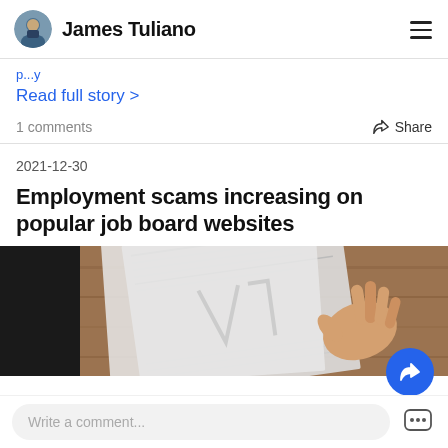James Tuliano
Read full story >
1 comments   Share
2021-12-30
Employment scams increasing on popular job board websites
[Figure (photo): Person's hand holding papers/documents on a wooden desk, appearing to be reviewing paperwork]
Write a comment...